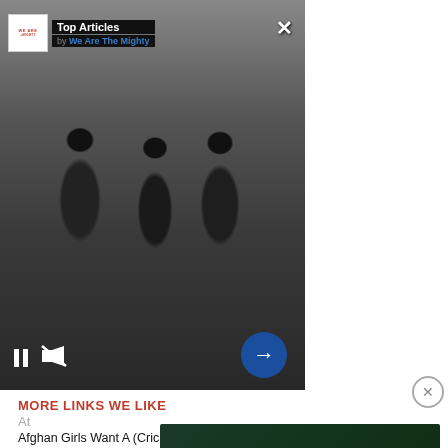[Figure (screenshot): Top Articles panel with 'We Are The Mighty' logo, historical black and white photo of armed men (Geronimo era), media controls (pause/mute), next arrow button, and close X button]
Today in military history: Geronimo surrenders
MORE LINKS WE LIKE
Afghan Girls Want A (Cricket) League Of Their Own
Indian Embassy In Afghanistan Condemns Deadly Attack On Hindus ...
RFE/RL Journalists Among 25 Killed In Kabul Suicide Bombings
Afghan Cleric's 'Fatwa' Against Media Makes Life Even More ...
At
[Figure (infographic): Navy Federal Credit Union advertisement banner: green credit card image on left, 'Earn up to 1.75% cash back on all purchases', Navy Federal Credit Union logo, LEARN MORE green button]